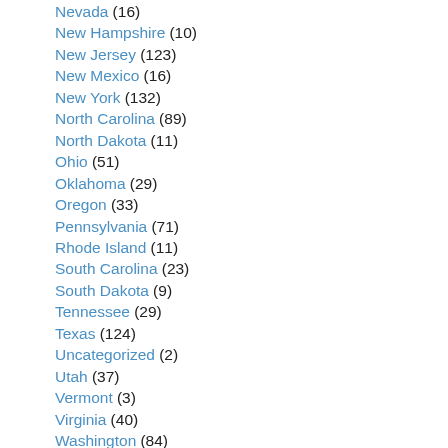Nevada (16)
New Hampshire (10)
New Jersey (123)
New Mexico (16)
New York (132)
North Carolina (89)
North Dakota (11)
Ohio (51)
Oklahoma (29)
Oregon (33)
Pennsylvania (71)
Rhode Island (11)
South Carolina (23)
South Dakota (9)
Tennessee (29)
Texas (124)
Uncategorized (2)
Utah (37)
Vermont (3)
Virginia (40)
Washington (84)
West Virginia (9)